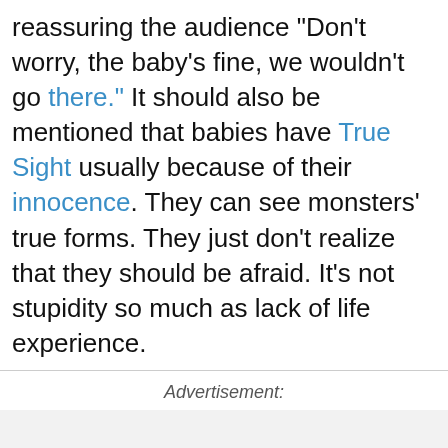reassuring the audience "Don't worry, the baby's fine, we wouldn't go there." It should also be mentioned that babies have True Sight usually because of their innocence. They can see monsters' true forms. They just don't realize that they should be afraid. It's not stupidity so much as lack of life experience.
Advertisement: